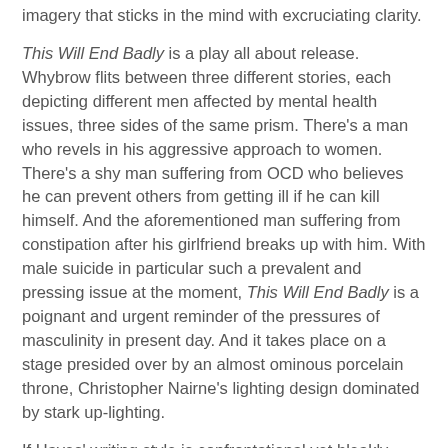imagery that sticks in the mind with excruciating clarity.
This Will End Badly is a play all about release. Whybrow flits between three different stories, each depicting different men affected by mental health issues, three sides of the same prism. There's a man who revels in his aggressive approach to women. There's a shy man suffering from OCD who believes he can prevent others from getting ill if he can kill himself. And the aforementioned man suffering from constipation after his girlfriend breaks up with him. With male suicide in particular such a prevalent and pressing issue at the moment, This Will End Badly is a poignant and urgent reminder of the pressures of masculinity in present day. And it takes place on a stage presided over by an almost ominous porcelain throne, Christopher Nairne's lighting design dominated by stark up-lighting.
If Hayes' writing style is confrontational yet bleakly amusing, skillfully pushing and pulling the audience's emotions in all sorts of directions, then Whybrow's astonishing performance enhances this further. Each story bleeds seamlessly into the next, fragmented, as if that prism of masculinity has been